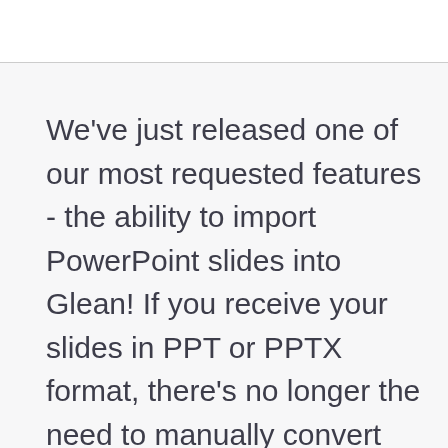We've just released one of our most requested features - the ability to import PowerPoint slides into Glean! If you receive your slides in PPT or PPTX format, there's no longer the need to manually convert